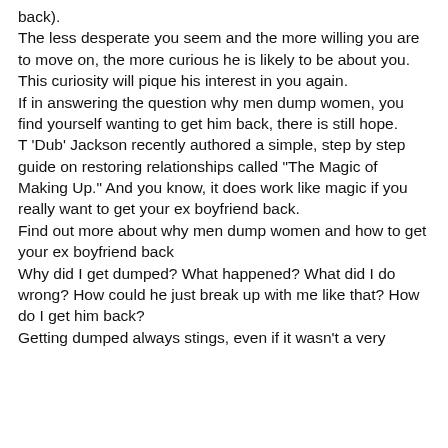back).
The less desperate you seem and the more willing you are to move on, the more curious he is likely to be about you. This curiosity will pique his interest in you again.
If in answering the question why men dump women, you find yourself wanting to get him back, there is still hope.
T 'Dub' Jackson recently authored a simple, step by step guide on restoring relationships called "The Magic of Making Up." And you know, it does work like magic if you really want to get your ex boyfriend back.
Find out more about why men dump women and how to get your ex boyfriend back
Why did I get dumped? What happened? What did I do wrong? How could he just break up with me like that? How do I get him back?
Getting dumped always stings, even if it wasn't a very